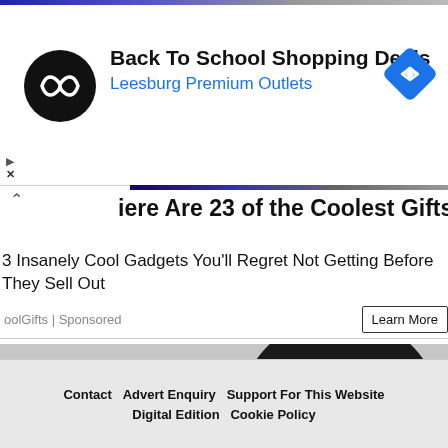[Figure (logo): Ad banner: Black circle logo with arrow/infinity symbol, text 'Back To School Shopping Deals' and 'Leesburg Premium Outlets' in blue, blue diamond navigation icon on right]
iere Are 23 of the Coolest Gifts for This 2022
3 Insanely Cool Gadgets You'll Regret Not Getting Before They Sell Out
oolGifts | Sponsored
[Figure (photo): Person applying a red massage/therapy device to their hip/knee area. Glowing skeletal overlay visible on the joint area. Gray background.]
Contact   Advert Enquiry   Support For This Website   Digital Edition   Cookie Policy